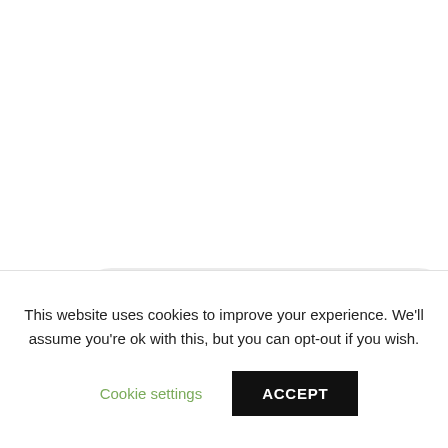View full collection
This website uses cookies to improve your experience. We'll assume you're ok with this, but you can opt-out if you wish.
Cookie settings
ACCEPT